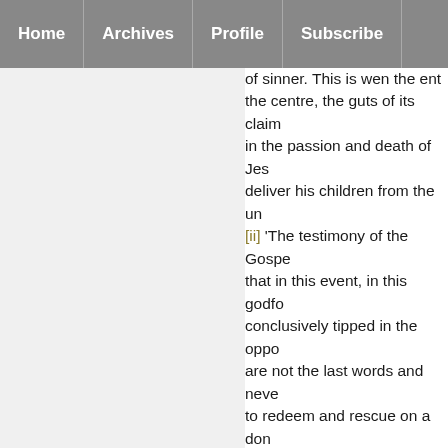Home | Archives | Profile | Subscribe
of sinner. This is the the centre, the guts of its claim in the passion and death of Jesus deliver his children from the un [ii] 'The testimony of the Gospel that in this event, in this godfo conclusively tipped in the oppo are not the last words and neve to redeem and rescue on a don and heavy heart, a crown of the tomb.
This is his story. This is our story have been baptised into it.
In our current predicament, in and we hear Jesus, declare, 'Bu We walk the way of the cross, t he who comes in the name of t Jesus asking him to save us, to
We can sing hosanna today be